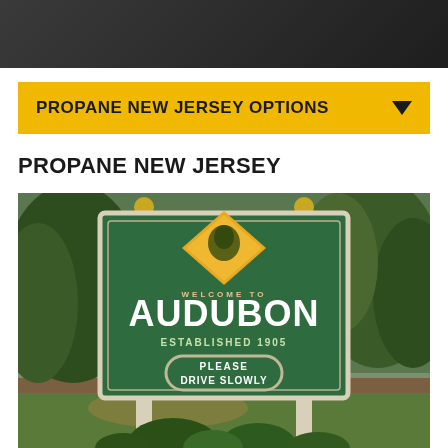PROPANE NEW JERSEY OPTIONS
PROPANE NEW JERSEY
[Figure (photo): Welcome to Audubon sign with white wooden posts topped with gold balls, green sign board reading 'WELCOME TO AUDUBON ESTABLISHED 1905 PLEASE DRIVE SLOWLY', set among trees and shrubs]